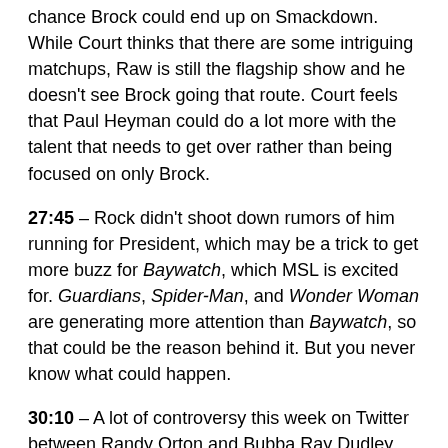chance Brock could end up on Smackdown. While Court thinks that there are some intriguing matchups, Raw is still the flagship show and he doesn't see Brock going that route. Court feels that Paul Heyman could do a lot more with the talent that needs to get over rather than being focused on only Brock.
27:45 – Rock didn't shoot down rumors of him running for President, which may be a trick to get more buzz for Baywatch, which MSL is excited for. Guardians, Spider-Man, and Wonder Woman are generating more attention than Baywatch, so that could be the reason behind it. But you never know what could happen.
30:10 – A lot of controversy this week on Twitter between Randy Orton and Bubba Ray Dudley. While there are people that like old school wrestling with less high spots, others prefer more cutting edge stuff. Court loves the newer generation in every sense, especially how guys have carved out their own careers outside of WWE. They are good guys